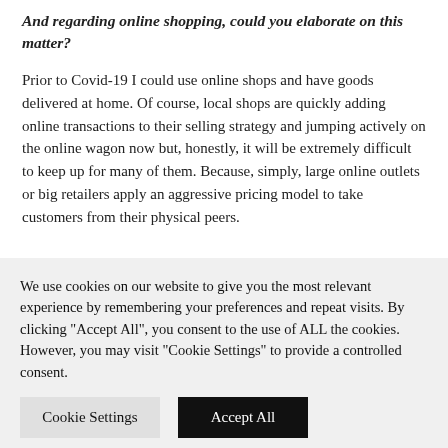And regarding online shopping, could you elaborate on this matter?
Prior to Covid-19 I could use online shops and have goods delivered at home. Of course, local shops are quickly adding online transactions to their selling strategy and jumping actively on the online wagon now but, honestly, it will be extremely difficult to keep up for many of them. Because, simply, large online outlets or big retailers apply an aggressive pricing model to take customers from their physical peers.
We use cookies on our website to give you the most relevant experience by remembering your preferences and repeat visits. By clicking "Accept All", you consent to the use of ALL the cookies. However, you may visit "Cookie Settings" to provide a controlled consent.